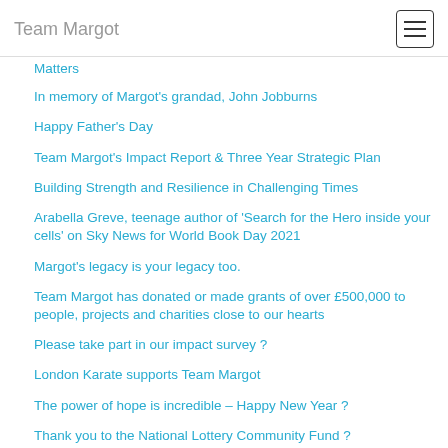Team Margot
Matters
In memory of Margot's grandad, John Jobburns
Happy Father's Day
Team Margot's Impact Report & Three Year Strategic Plan
Building Strength and Resilience in Challenging Times
Arabella Greve, teenage author of 'Search for the Hero inside your cells' on Sky News for World Book Day 2021
Margot's legacy is your legacy too.
Team Margot has donated or made grants of over £500,000 to people, projects and charities close to our hearts
Please take part in our impact survey ?
London Karate supports Team Margot
The power of hope is incredible – Happy New Year ?
Thank you to the National Lottery Community Fund ?
Miles For Margot